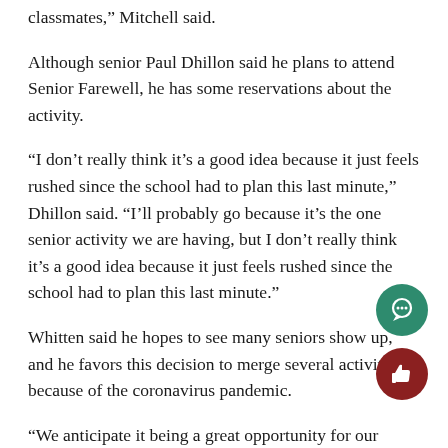classmates,” Mitchell said.
Although senior Paul Dhillon said he plans to attend Senior Farewell, he has some reservations about the activity.
“I don’t really think it’s a good idea because it just feels rushed since the school had to plan this last minute,” Dhillon said. “I’ll probably go because it’s the one senior activity we are having, but I don’t really think it’s a good idea because it just feels rushed since the school had to plan this last minute.”
Whitten said he hopes to see many seniors show up, and he favors this decision to merge several activities because of the coronavirus pandemic.
“We anticipate it being a great opportunity for our seniors to reconnect with their friends and collect th